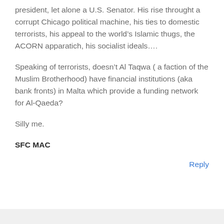president, let alone a U.S. Senator. His rise throught a corrupt Chicago political machine, his ties to domestic terrorists, his appeal to the world’s Islamic thugs, the ACORN apparatich, his socialist ideals….
Speaking of terrorists, doesn’t Al Taqwa ( a faction of the Muslim Brotherhood) have financial institutions (aka bank fronts) in Malta which provide a funding network for Al-Qaeda?
Silly me.
SFC MAC
Reply